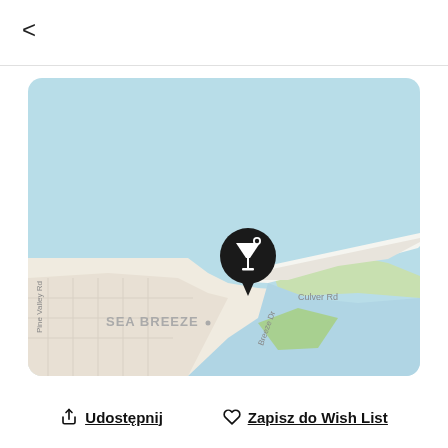<
[Figure (map): Map showing a coastal area near Sea Breeze with a water body (light blue), a sandy strip/causeway (Culver Rd), green area, and a black circular map pin with a cocktail/martini glass icon. Street labels: SEA BREEZE, Culver Rd, Pine Valley Rd, Breeze Dr.]
Udostępnij
Zapisz do Wish List